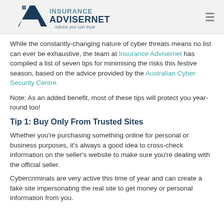[Figure (logo): Insurance Advisernet logo with tagline 'Advice you can trust']
While the constantly-changing nature of cyber threats means no list can ever be exhaustive, the team at Insurance Advisernet has compiled a list of seven tips for minimising the risks this festive season, based on the advice provided by the Australian Cyber Security Centre.
Note: As an added benefit, most of these tips will protect you year-round too!
Tip 1: Buy Only From Trusted Sites
Whether you're purchasing something online for personal or business purposes, it's always a good idea to cross-check information on the seller's website to make sure you're dealing with the official seller.
Cybercriminals are very active this time of year and can create a fake site impersonating the real site to get money or personal information from you.